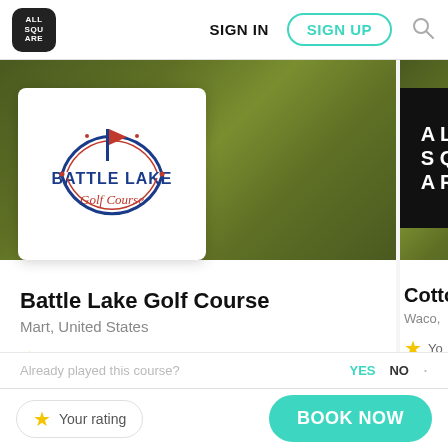SIGN IN | SIGN UP
[Figure (screenshot): Battle Lake Golf Course card with green hero background and white logo box containing Battle Lake Golf Course logo]
Battle Lake Golf Course
Mart, United States
★ Your rating
No users played here
[Figure (screenshot): Partial right card with dark logo placeholder showing A L S Q A R letters and Cotto title, Waco location, profile image with number 1]
Cotto
Waco,
★ Yo
Already played this course?
YES   NO
★ Your rating
BOOK NOW